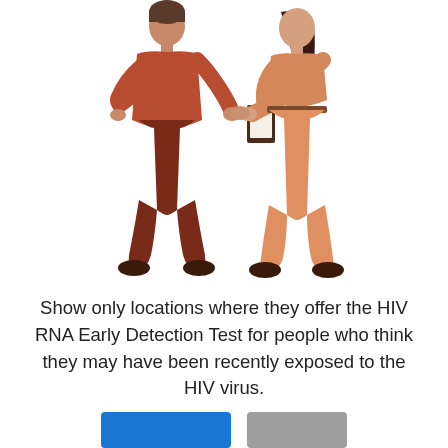[Figure (illustration): Two illustrated figures shaking hands: a man in a rust/brown sweater and dark pants on the left, and a woman in peach/orange jumpsuit holding a clipboard on the right.]
Show only locations where they offer the HIV RNA Early Detection Test for people who think they may have been recently exposed to the HIV virus.